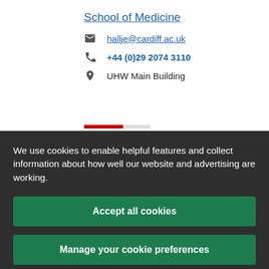School of Medicine
hallje@cardiff.ac.uk
+44 (0)29 2074 3110
UHW Main Building
We use cookies to enable helpful features and collect information about how well our website and advertising are working.
Accept all cookies
Manage your cookie preferences